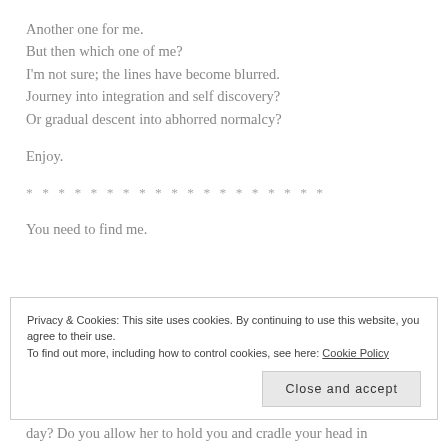Another one for me.
But then which one of me?
I'm not sure; the lines have become blurred.
Journey into integration and self discovery?
Or gradual descent into abhorred normalcy?
Enjoy.
* * * * * * * * * * * * * * * * * * *
You need to find me.
Privacy & Cookies: This site uses cookies. By continuing to use this website, you agree to their use. To find out more, including how to control cookies, see here: Cookie Policy
Close and accept
day? Do you allow her to hold you and cradle your head in